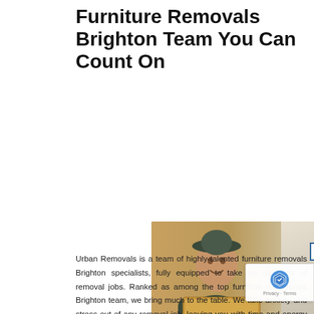Furniture Removals Brighton Team You Can Count On
[Figure (photo): A man in a dark polo shirt and cap carrying a large cardboard box with fragile symbols, in front of a blurred living room background. Overlay text reads 'CERTIFIED' in a box and 'The no.1 Movers' in italic script.]
Urban Removals is a team of highly-talented furniture removals Brighton specialists, fully equipped to take on all kinds of removal jobs. Ranked as among the top furniture removalists Brighton team, we bring much to the table. We take anxiety and stress out of any removal job, leaving you with time and energy to focus on things that are important to you. Our furniture removals Brighton specialists are the best in the business and boast of years of experience in